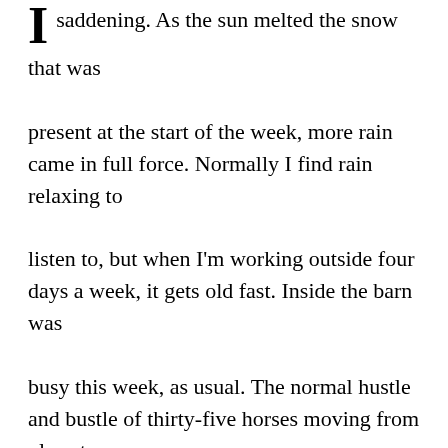I saddening. As the sun melted the snow that was present at the start of the week, more rain came in full force. Normally I find rain relaxing to listen to, but when I'm working outside four days a week, it gets old fast. Inside the barn was busy this week, as usual. The normal hustle and bustle of thirty-five horses moving from place to place and pasture to pasture gives you a little bit of a whiplash but I am starting to get the hang